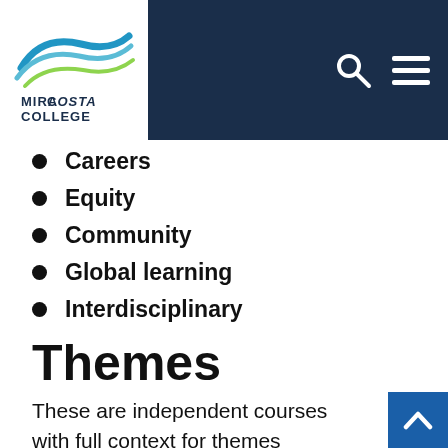[Figure (logo): MiraCosta College logo with blue and green swoosh design on white background in top-left header area]
MiraCosta College website header with search and menu icons
Careers
Equity
Community
Global learning
Interdisciplinary
Themes
These are independent courses with full context for themes connecting to the discipline. As students, choosing a major is exciting, but it can also bring many questions. Students can now choose Academic and Career Pathways, which are